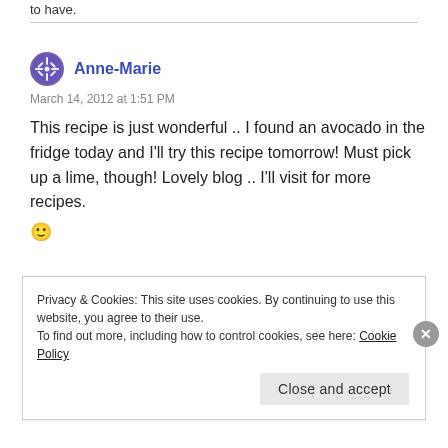to have.
Anne-Marie
March 14, 2012 at 1:51 PM
This recipe is just wonderful .. I found an avocado in the fridge today and I'll try this recipe tomorrow! Must pick up a lime, though! Lovely blog .. I'll visit for more recipes. 🙂
Privacy & Cookies: This site uses cookies. By continuing to use this website, you agree to their use.
To find out more, including how to control cookies, see here: Cookie Policy
Close and accept